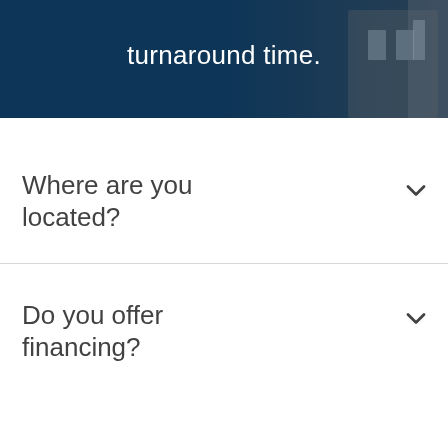[Figure (photo): Dark blue banner with a building/storefront image in the background and white text reading 'turnaround time.']
turnaround time.
Where are you located?
Do you offer financing?